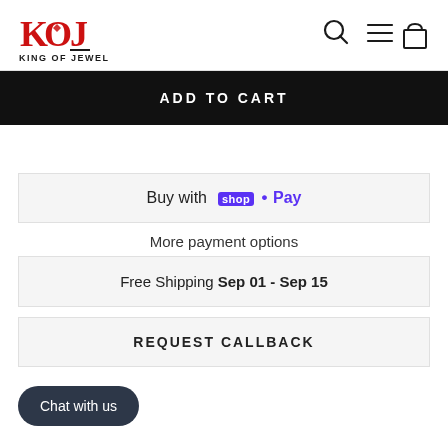[Figure (logo): King of Jewelry logo with KOJ monogram in red and black, diamond graphic, text KING OF JEWELRY below]
[Figure (other): Header navigation icons: search magnifier, hamburger menu, shopping bag]
ADD TO CART
Buy with  • Pay
More payment options
Free Shipping Sep 01 - Sep 15
REQUEST CALLBACK
Chat with us